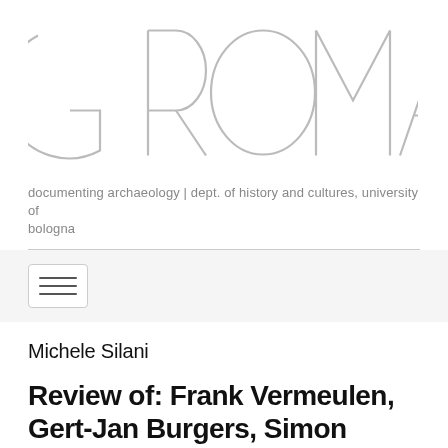[Figure (logo): GROMA journal logo in large outlined/thin-stroke uppercase letters]
documenting archaeology | dept. of history and cultures, university of bologna
[Figure (other): Hamburger menu button with three horizontal lines]
Michele Silani
Review of: Frank Vermeulen, Gert-Jan Burgers, Simon Keays and Cristina Corsi, eds. 2012. Urban Landscape Survey in Italy